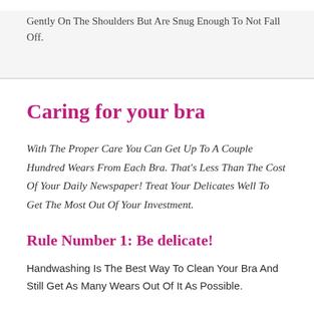Gently On The Shoulders But Are Snug Enough To Not Fall Off.
Caring for your bra
With The Proper Care You Can Get Up To A Couple Hundred Wears From Each Bra. That's Less Than The Cost Of Your Daily Newspaper! Treat Your Delicates Well To Get The Most Out Of Your Investment.
Rule Number 1: Be delicate!
Handwashing Is The Best Way To Clean Your Bra And Still Get As Many Wears Out Of It As Possible.